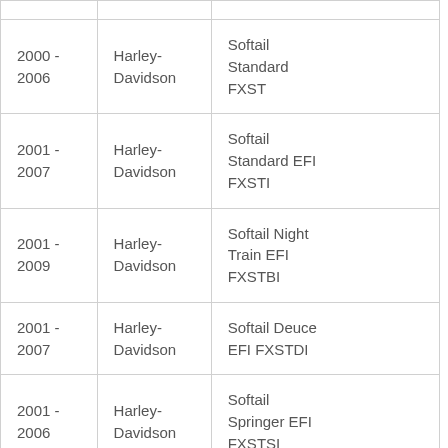| Year | Make | Model |
| --- | --- | --- |
| 2000 - 2006 | Harley-Davidson | Softail Standard FXST |
| 2001 - 2007 | Harley-Davidson | Softail Standard EFI FXSTI |
| 2001 - 2009 | Harley-Davidson | Softail Night Train EFI FXSTBI |
| 2001 - 2007 | Harley-Davidson | Softail Deuce EFI FXSTDI |
| 2001 - 2006 | Harley-Davidson | Softail Springer EFI FXSTSI |